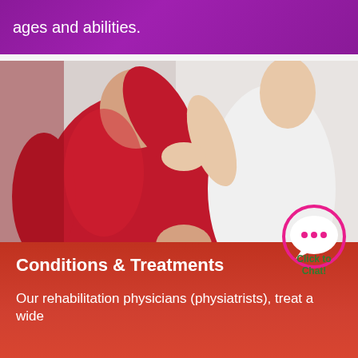ages and abilities.
[Figure (photo): A physical therapist in a white top examining or treating a patient wearing a red sleeveless shirt, viewed from the back, in a gym or rehabilitation setting.]
[Figure (infographic): Click to Chat button: speech bubble icon with three dots, with green text reading 'Click to Chat!']
Conditions & Treatments
Our rehabilitation physicians (physiatrists), treat a wide